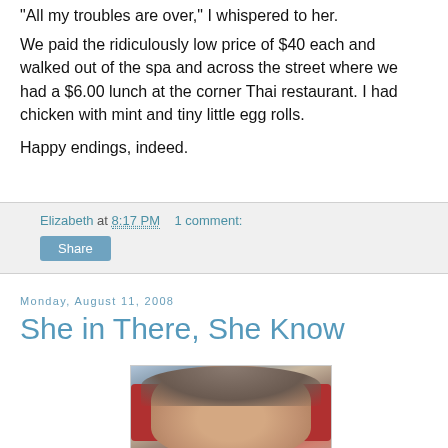"All my troubles are over," I whispered to her.
We paid the ridiculously low price of $40 each and walked out of the spa and across the street where we had a $6.00 lunch at the corner Thai restaurant. I had chicken with mint and tiny little egg rolls.
Happy endings, indeed.
Elizabeth at 8:17 PM   1 comment:
Share
Monday, August 11, 2008
She in There, She Know
[Figure (photo): Photo of a young woman with dark hair pulled up, seated in or near a red chair/bench, photographed outdoors]